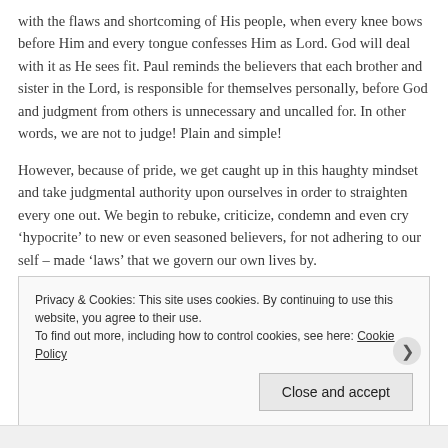with the flaws and shortcoming of His people, when every knee bows before Him and every tongue confesses Him as Lord. God will deal with it as He sees fit. Paul reminds the believers that each brother and sister in the Lord, is responsible for themselves personally, before God and judgment from others is unnecessary and uncalled for. In other words, we are not to judge! Plain and simple!
However, because of pride, we get caught up in this haughty mindset and take judgmental authority upon ourselves in order to straighten every one out. We begin to rebuke, criticize, condemn and even cry ‘hypocrite’ to new or even seasoned believers, for not adhering to our self – made ‘laws’ that we govern our own lives by.
Privacy & Cookies: This site uses cookies. By continuing to use this website, you agree to their use.
To find out more, including how to control cookies, see here: Cookie Policy
Close and accept